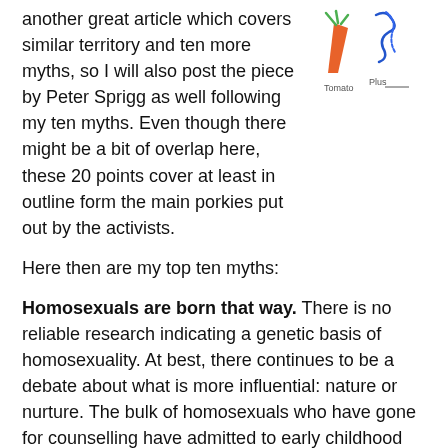another great article which covers similar territory and ten more myths, so I will also post the piece by Peter Sprigg as well following my ten myths. Even though there might be a bit of overlap here, these 20 points cover at least in outline form the main porkies put out by the activists.
[Figure (illustration): Drawing of a carrot (orange) and a pen/marker (blue) with labels 'Tomato' and 'Plus' beneath them]
Here then are my top ten myths:
Homosexuals are born that way. There is no reliable research indicating a genetic basis of homosexuality. At best, there continues to be a debate about what is more influential: nature or nurture. The bulk of homosexuals who have gone for counselling have admitted to early childhood factors, such as an absent or aloof or abusive parent, and so on. And many homosexuals have